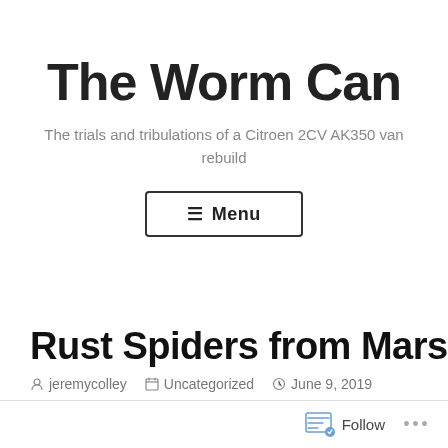The Worm Can
The trials and tribulations of a Citroen 2CV AK350 van rebuild
[Figure (other): Menu button with hamburger icon and border]
Rust Spiders from Mars
jeremycolley   Uncategorized   June 9, 2019
Follow ...